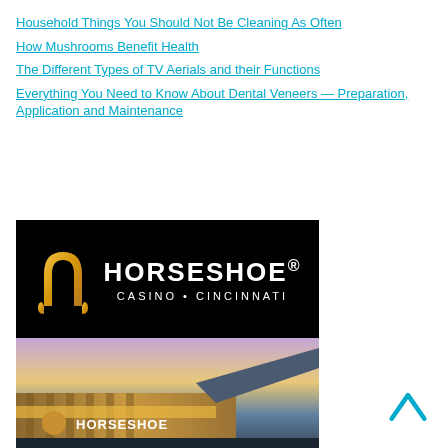Household Things You Should Not Be Cleaning As Often
How Mushrooms Benefit Health
The Different Types of TV Aerials and their Functions
Everything You Need to Know About Dental Veneers — Preparation, Application and Maintenance
[Figure (logo): Horseshoe Casino Cincinnati logo — gold horseshoe icon on black background with white text: HORSESHOE. CASINO • CINCINNATI]
[Figure (photo): Exterior photograph of Horseshoe Casino Cincinnati building at dusk showing illuminated facade with Horseshoe sign]